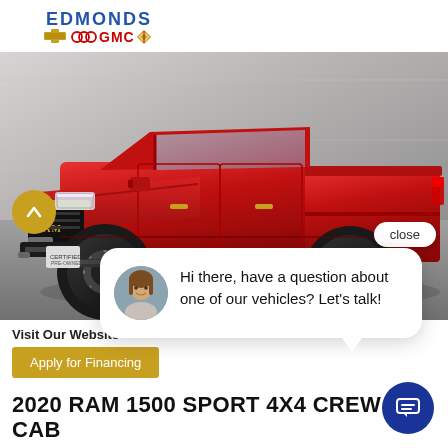[Figure (logo): Edmonds Chevrolet Buick GMC Corvette dealership logo with brand icons]
[Figure (photo): Red 2020 RAM 1500 Sport 4x4 Crew Cab pickup truck shown from front-left quarter angle against a grey wall background]
close
Hi there, have a question about one of our vehicles? Let's talk!
Visit Our Website
Apply for Financing
2020 RAM 1500 SPORT 4X4 CREW CAB
SPORT NIGHT, 4X4, SUNROOF, HTD/COOL, LIFT, 1-OWNER
Edmonds Deal: $61,709